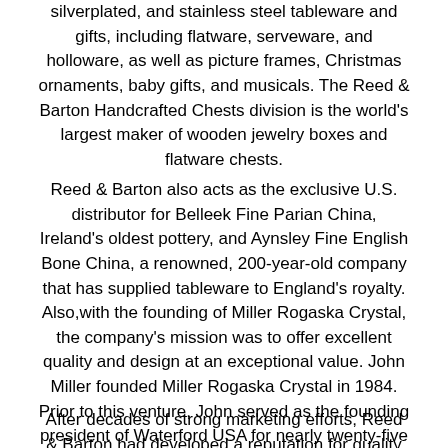silverplated, and stainless steel tableware and gifts, including flatware, serveware, and holloware, as well as picture frames, Christmas ornaments, baby gifts, and musicals. The Reed & Barton Handcrafted Chests division is the world's largest maker of wooden jewelry boxes and flatware chests.
Reed & Barton also acts as the exclusive U.S. distributor for Belleek Fine Parian China, Ireland's oldest pottery, and Aynsley Fine English Bone China, a renowned, 200-year-old company that has supplied tableware to England's royalty. Also,with the founding of Miller Rogaska Crystal, the company's mission was to offer excellent quality and design at an exceptional value. John Miller founded Miller Rogaska Crystal in 1984. Prior to this venture, John served as the founding president of Waterford USA for nearly twenty-five years. He is credited as being one of the industry's pioneers in bringing fine European crystal stemware and giftware to America.
After decades of strong marketing efforts, Reed & Barton had developed a reputation for quality craftsmanship and fine design work, especially in sterling, wood and crystal